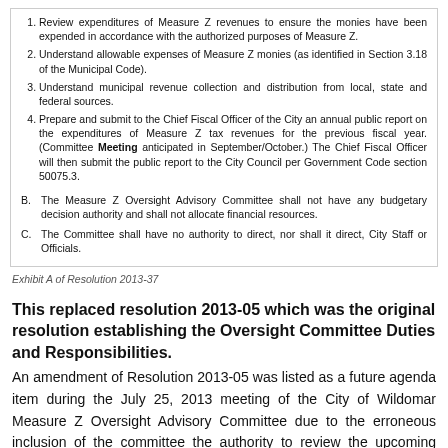1. Review expenditures of Measure Z revenues to ensure the monies have been expended in accordance with the authorized purposes of Measure Z.
2. Understand allowable expenses of Measure Z monies (as identified in Section 3.18 of the Municipal Code).
3. Understand municipal revenue collection and distribution from local, state and federal sources.
4. Prepare and submit to the Chief Fiscal Officer of the City an annual public report on the expenditures of Measure Z tax revenues for the previous fiscal year. (Committee Meeting anticipated in September/October.) The Chief Fiscal Officer will then submit the public report to the City Council per Government Code section 50075.3.
B. The Measure Z Oversight Advisory Committee shall not have any budgetary decision authority and shall not allocate financial resources.
C. The Committee shall have no authority to direct, nor shall it direct, City Staff or Officials.
Exhibit A of Resolution 2013-37
This replaced resolution 2013-05 which was the original resolution establishing the Oversight Committee Duties and Responsibilities.
An amendment of Resolution 2013-05 was listed as a future agenda item during the July 25, 2013 meeting of the City of Wildomar Measure Z Oversight Advisory Committee due to the erroneous inclusion of the committee the authority to review the upcoming budget prior to City Council budget hearings.